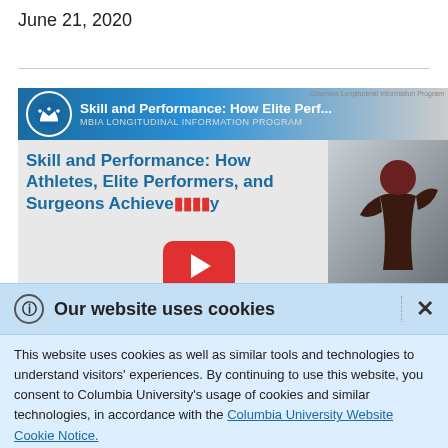June 21, 2020
[Figure (screenshot): Columbia Longitudinal Information Program video thumbnail for 'Skill and Performance: How Elite Perf...' with crown logo and baseball player image, partially obscured by YouTube play button overlay and cookie consent banner.]
Skill and Performance: How Athletes, Elite Performers, and Surgeons Achieve [partially obscured]
ⓘ Our website uses cookies
This website uses cookies as well as similar tools and technologies to understand visitors' experiences. By continuing to use this website, you consent to Columbia University's usage of cookies and similar technologies, in accordance with the Columbia University Website Cookie Notice.